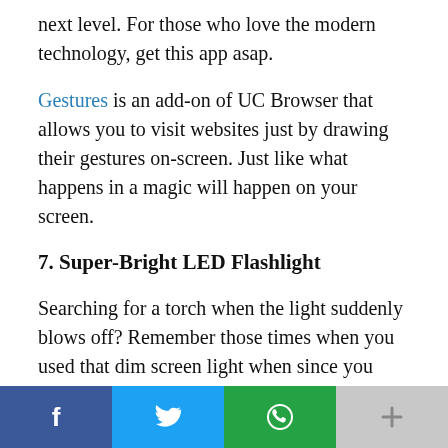next level. For those who love the modern technology, get this app asap.
Gestures is an add-on of UC Browser that allows you to visit websites just by drawing their gestures on-screen. Just like what happens in a magic will happen on your screen.
7. Super-Bright LED Flashlight
Searching for a torch when the light suddenly blows off? Remember those times when you used that dim screen light when since you couldn't find the switch in the dark. Or just for a prank to light up your face and scare your friend. This app serves it all.
[Figure (infographic): Social sharing bar with four buttons: Facebook (blue), Twitter (light blue), WhatsApp (green), and a More button (grey) with plus icon.]